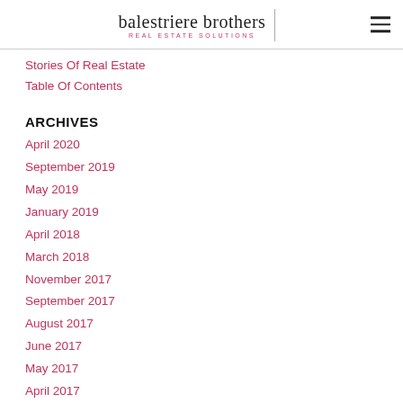balestriere brothers REAL ESTATE SOLUTIONS
Stories Of Real Estate
Table Of Contents
ARCHIVES
April 2020
September 2019
May 2019
January 2019
April 2018
March 2018
November 2017
September 2017
August 2017
June 2017
May 2017
April 2017